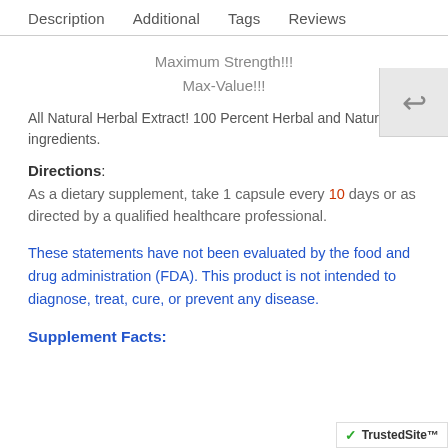Description   Additional   Tags   Reviews
Maximum Strength!!!
Max-Value!!!
All Natural Herbal Extract! 100 Percent Herbal and Natural ingredients.
Directions:
As a dietary supplement, take 1 capsule every 10 days or as directed by a qualified healthcare professional.
These statements have not been evaluated by the food and drug administration (FDA). This product is not intended to diagnose, treat, cure, or prevent any disease.
Supplement Facts: